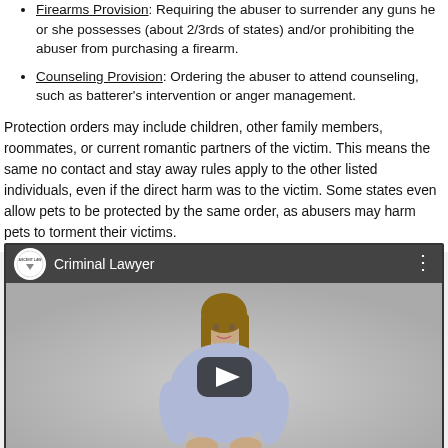Firearms Provision: Requiring the abuser to surrender any guns he or she possesses (about 2/3rds of states) and/or prohibiting the abuser from purchasing a firearm.
Counseling Provision: Ordering the abuser to attend counseling, such as batterer's intervention or anger management.
Protection orders may include children, other family members, roommates, or current romantic partners of the victim. This means the same no contact and stay away rules apply to the other listed individuals, even if the direct harm was to the victim. Some states even allow pets to be protected by the same order, as abusers may harm pets to torment their victims.
[Figure (screenshot): Embedded video player showing a woman (criminal lawyer) in a light blue blouse standing in a studio setting. The video has a dark title bar at the top with 'Criminal Lawyer' text, a circular logo on the left, and a play button overlay in the center of the video.]